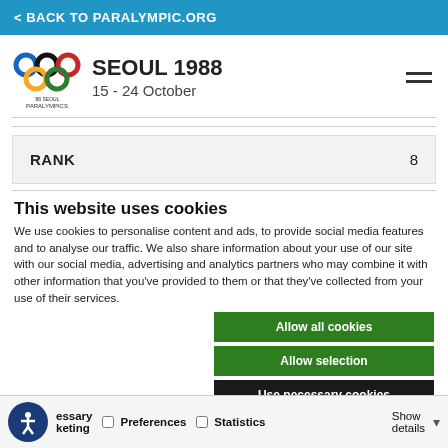< BACK TO PARALYMPIC.ORG
[Figure (logo): 1988 Seoul Paralympics logo with colorful interlocking rings]
SEOUL 1988
15 - 24 October
| RANK |  |
| --- | --- |
| RANK | 8 |
This website uses cookies
We use cookies to personalise content and ads, to provide social media features and to analyse our traffic. We also share information about your use of our site with our social media, advertising and analytics partners who may combine it with other information that you've provided to them or that they've collected from your use of their services.
Allow all cookies
Allow selection
Use necessary cookies
essary   Preferences   Statistics   Show details
keting